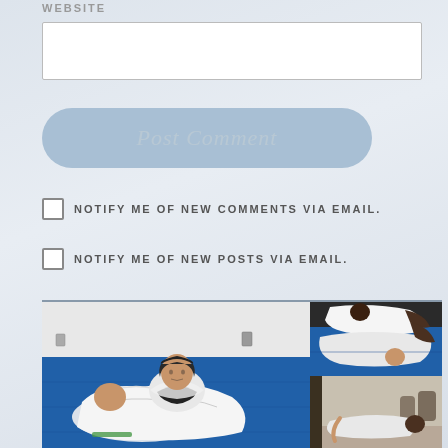WEBSITE
Post Comment
NOTIFY ME OF NEW COMMENTS VIA EMAIL.
NOTIFY ME OF NEW POSTS VIA EMAIL.
[Figure (photo): Three photos of Brazilian Jiu-Jitsu (BJJ) practitioners on blue mats. Main large photo shows two people in white gi sparring/grappling on the floor, one appears to be a woman with dark hair. Top right photo shows two people grappling, one in white gi on top. Bottom right photo shows a person on the ground in a gym setting.]